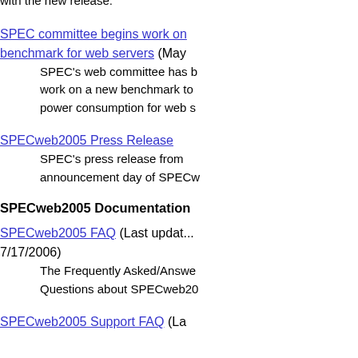with the new release.
SPEC committee begins work on benchmark for web servers (May...)
    SPEC's web committee has b... work on a new benchmark to... power consumption for web s...
SPECweb2005 Press Release
    SPEC's press release from announcement day of SPECw...
SPECweb2005 Documentation
SPECweb2005 FAQ (Last updat... 7/17/2006)
    The Frequently Asked/Answe... Questions about SPECweb20...
SPECweb2005 Support FAQ (La...